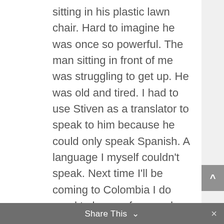sitting in his plastic lawn chair. Hard to imagine he was once so powerful. The man sitting in front of me was struggling to get up. He was old and tired. I had to use Stiven as a translator to speak to him because he could only speak Spanish. A language I myself couldn't speak. Next time I'll be coming to Colombia I do need to learn a few words because only a few people speak English. I could tell that people still showed him respect as if he was still the once so powerful accountant. The stories he could tell...
I do want to learn more about the history of Pablo Escobar, so I bought a book that was written by Roberto. What better way to learn the truth than from his own family, if they told the
Share This ∨